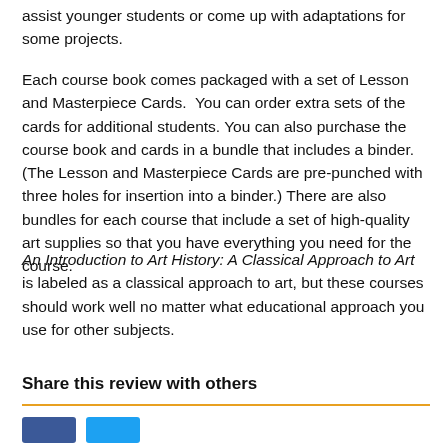assist younger students or come up with adaptations for some projects.
Each course book comes packaged with a set of Lesson and Masterpiece Cards.  You can order extra sets of the cards for additional students. You can also purchase the course book and cards in a bundle that includes a binder. (The Lesson and Masterpiece Cards are pre-punched with three holes for insertion into a binder.) There are also bundles for each course that include a set of high-quality art supplies so that you have everything you need for the course.
An Introduction to Art History: A Classical Approach to Art is labeled as a classical approach to art, but these courses should work well no matter what educational approach you use for other subjects.
Share this review with others